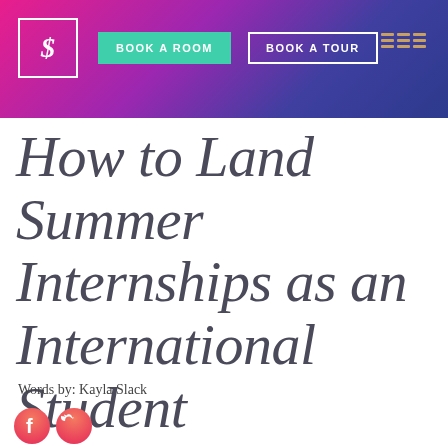BOOK A ROOM | BOOK A TOUR
How to Land Summer Internships as an International Student
Words by: Kayla Slack